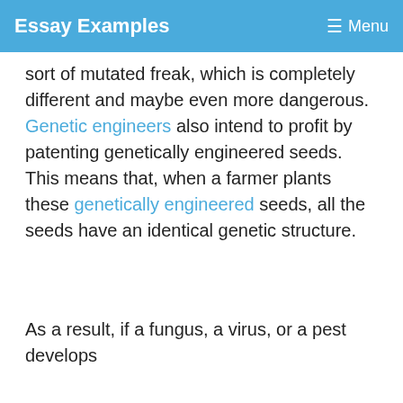Essay Examples   ☰ Menu
sort of mutated freak, which is completely different and maybe even more dangerous. Genetic engineers also intend to profit by patenting genetically engineered seeds. This means that, when a farmer plants these genetically engineered seeds, all the seeds have an identical genetic structure.
As a result, if a fungus, a virus, or a pest develops